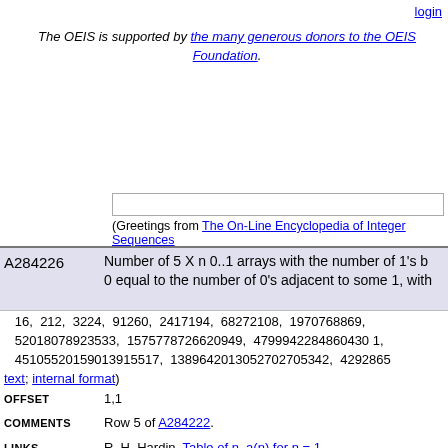login
The OEIS is supported by the many generous donors to the OEIS Foundation.
(Greetings from The On-Line Encyclopedia of Integer Sequences
| ID | Description |
| --- | --- |
| A284226 | Number of 5 X n 0..1 arrays with the number of 1's b... 0 equal to the number of 0's adjacent to some 1, with... |
16, 212, 3224, 91260, 2417194, 68272108, 1970768869, 52018078923533, 1575778726620949, 4799942284860430 1, 45105520159013915517, 1389642013052702705342, 4292865...
text; internal format)
OFFSET	1,1
COMMENTS	Row 5 of A284222.
LINKS	R. H. Hardin, Table of n, a(n) for n = 1
EXAMPLE	Some solutions for n=4
..0..0..1..1. .0..1..0..0. .0..0..1..1.
..1..0..0..0. .1..0..0..0. .1..1..0..0.
..1..1..1..0. .1..1..1..0. .0..1..0..1.